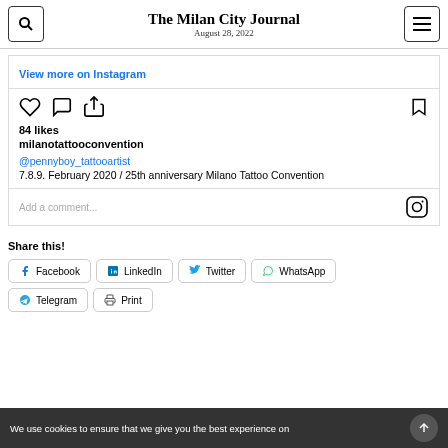The Milan City Journal
August 28, 2022
View more on Instagram
84 likes
milanotattooconvention
@pennyboy_tattooartist
7.8.9. February 2020 / 25th anniversary Milano Tattoo Convention
Add a comment...
Share this!
Facebook
LinkedIn
Twitter
WhatsApp
Telegram
Print
We use cookies to ensure that we give you the best experience on